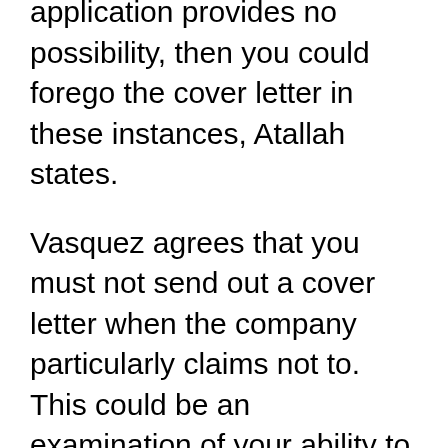application provides no possibility, then you could forego the cover letter in these instances, Atallah states.
Vasquez agrees that you must not send out a cover letter when the company particularly claims not to. This could be an examination of your ability to comply with directions, she states.
Exactly what if you assume the cover letter won t be read? Corrado claims that while some hiring managers claim they put on t checked out cover letters, those that do may dismiss your application if you put on t send out one.
While creating cover letters is taxing, the